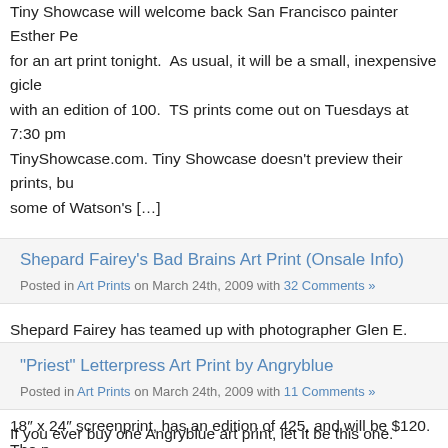Tiny Showcase will welcome back San Francisco painter Esther Pe... for an art print tonight. As usual, it will be a small, inexpensive gicle... with an edition of 100. TS prints come out on Tuesdays at 7:30 pm... TinyShowcase.com. Tiny Showcase doesn't preview their prints, bu... some of Watson's […]
Shepard Fairey's Bad Brains Art Print (Onsale Info)
Posted in Art Prints on March 24th, 2009 with 32 Comments »
Shepard Fairey has teamed up with photographer Glen E. Friedman... legendary punk rock band Bad Brains for a new print release. This... 18″ x 24″ screenprint, has an edition of 425, and will be $120. The p... signed by Fairey, Friedman, and all of the original members of Bad B...
"Priest" Letterpress Art Print by Angryblue
Posted in Art Prints on March 24th, 2009 with 11 Comments »
If you ever buy one Angryblue art print, let it be this one. "Priest" is... 11" x 14" letterpress print, has an edition of 75, and is only $25 shi...